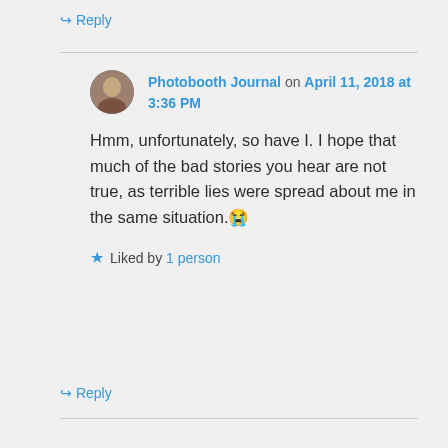↳ Reply
Photobooth Journal on April 11, 2018 at 3:36 PM
Hmm, unfortunately, so have I. I hope that much of the bad stories you hear are not true, as terrible lies were spread about me in the same situation. 😭
Liked by 1 person
↳ Reply